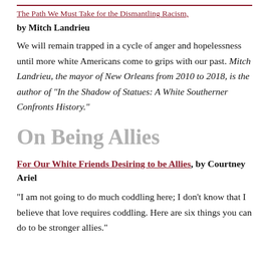[link] (truncated top link)
by Mitch Landrieu
We will remain trapped in a cycle of anger and hopelessness until more white Americans come to grips with our past. Mitch Landrieu, the mayor of New Orleans from 2010 to 2018, is the author of “In the Shadow of Statues: A White Southerner Confronts History.”
On Being Allies
For Our White Friends Desiring to be Allies, by Courtney Ariel
“I am not going to do much coddling here; I don’t know that I believe that love requires coddling. Here are six things you can do to be stronger allies.”